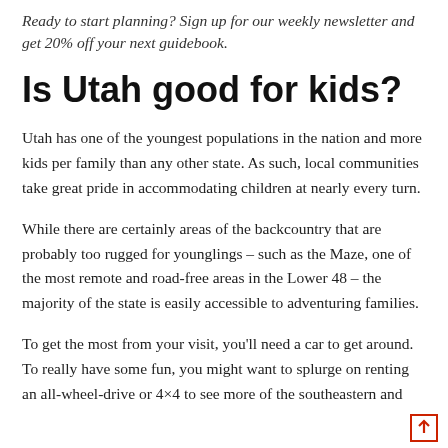Ready to start planning? Sign up for our weekly newsletter and get 20% off your next guidebook.
Is Utah good for kids?
Utah has one of the youngest populations in the nation and more kids per family than any other state. As such, local communities take great pride in accommodating children at nearly every turn.
While there are certainly areas of the backcountry that are probably too rugged for younglings – such as the Maze, one of the most remote and road-free areas in the Lower 48 – the majority of the state is easily accessible to adventuring families.
To get the most from your visit, you'll need a car to get around. To really have some fun, you might want to splurge on renting an all-wheel-drive or 4×4 to see more of the southeastern and